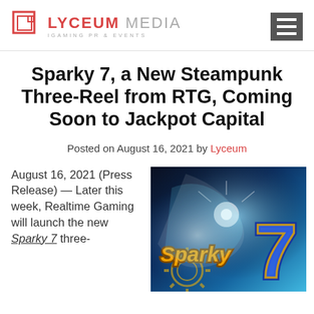LYCEUM MEDIA — iGaming PR & Events
Sparky 7, a New Steampunk Three-Reel from RTG, Coming Soon to Jackpot Capital
Posted on August 16, 2021 by Lyceum
August 16, 2021 (Press Release) — Later this week, Realtime Gaming will launch the new Sparky 7 three-
[Figure (photo): Promotional image for Sparky 7 slot game showing steampunk-themed blue glowing background with the Sparky 7 logo in gold letters and a large stylized blue and gold number 7 with gear decorations.]